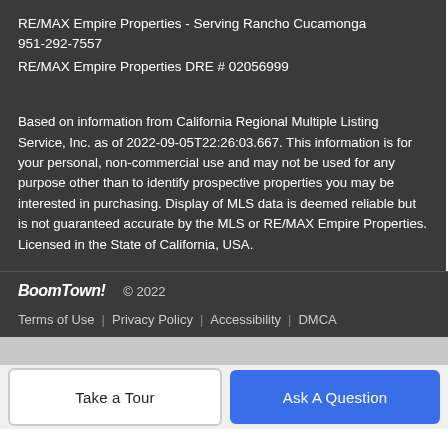RE/MAX Empire Properties - Serving Rancho Cucamonga 951-292-7557
RE/MAX Empire Properties DRE # 02056999
Based on information from California Regional Multiple Listing Service, Inc. as of 2022-09-05T22:26:03.667. This information is for your personal, non-commercial use and may not be used for any purpose other than to identify prospective properties you may be interested in purchasing. Display of MLS data is deemed reliable but is not guaranteed accurate by the MLS or RE/MAX Empire Properties. Licensed in the State of California, USA.
BoomTown! © 2022
Terms of Use | Privacy Policy | Accessibility | DMCA
Take a Tour
Ask A Question